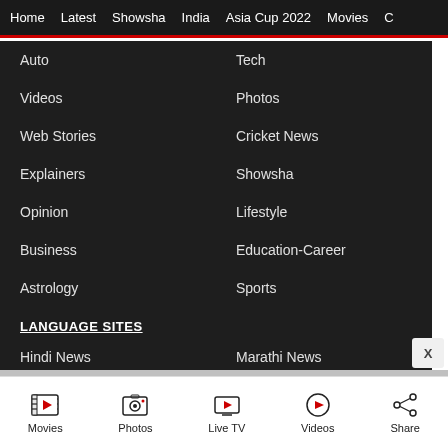Home | Latest | Showsha | India | Asia Cup 2022 | Movies | C
Auto
Tech
Videos
Photos
Web Stories
Cricket News
Explainers
Showsha
Opinion
Lifestyle
Business
Education-Career
Astrology
Sports
LANGUAGE SITES
Hindi News
Marathi News
Movies | Photos | Live TV | Videos | Share